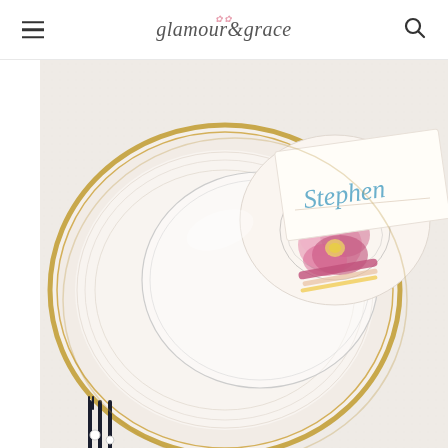glamour & grace
[Figure (photo): Close-up photograph of an elegant wedding table setting with a white textured charger plate with gold rim, a clear glass plate on top, and a folded floral napkin with a place card reading 'Stephen' in blue calligraphy script. Pink and magenta flowers are tucked into the napkin fold. Dark cutlery visible at bottom left.]